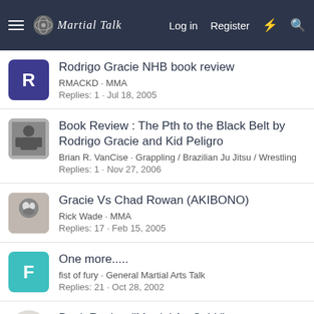Martial Talk — Log in  Register
Rodrigo Gracie NHB book review
RMACKD · MMA
Replies: 1 · Jul 18, 2005
Book Review : The Pth to the Black Belt by Rodrigo Gracie and Kid Peligro
Brian R. VanCise · Grappling / Brazilian Ju Jitsu / Wrestling
Replies: 1 · Nov 27, 2006
Gracie Vs Chad Rowan (AKIBONO)
Rick Wade · MMA
Replies: 17 · Feb 15, 2005
One more.....
fist of fury · General Martial Arts Talk
Replies: 21 · Oct 28, 2002
Book Review "Martial Art Spirit"
stono_dragono · General Martial Arts Talk